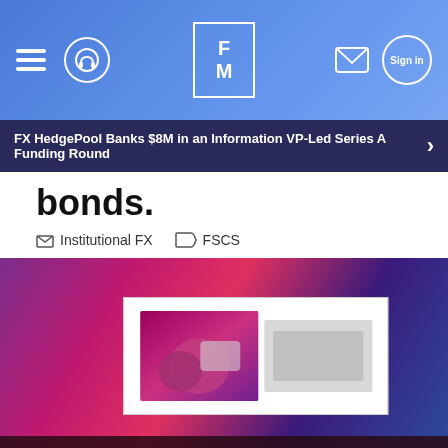Finance Magnates (FM) — header navigation bar
FX HedgePool Banks $8M in an Information VP-Led Series A Funding Round
bonds.
Institutional FX   FSCS
[Figure (photo): Colorful abstract blurred background image in purple, red, magenta and blue tones with a white overlay card containing an advertisement image]